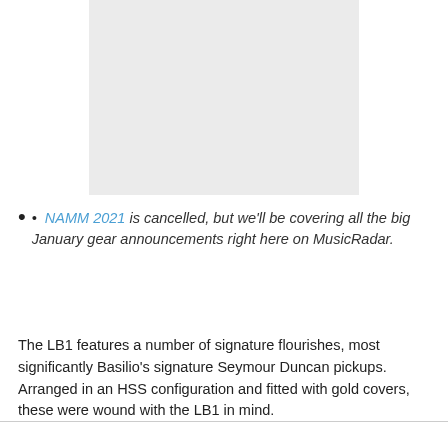[Figure (photo): Light gray placeholder image representing a photo, centered near the top of the page.]
• NAMM 2021 is cancelled, but we'll be covering all the big January gear announcements right here on MusicRadar.
The LB1 features a number of signature flourishes, most significantly Basilio's signature Seymour Duncan pickups. Arranged in an HSS configuration and fitted with gold covers, these were wound with the LB1 in mind.